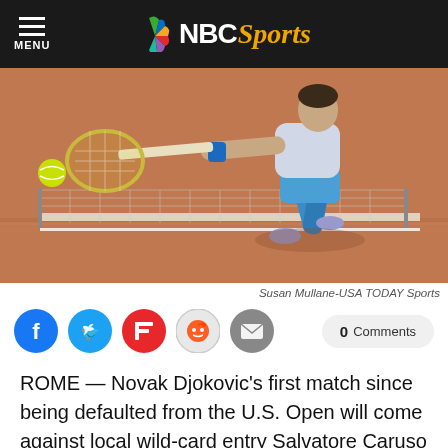MENU | NBC Sports
[Figure (photo): Tennis player lunging to hit a forehand on a clay court, near the net, with racket extended.]
Susan Mullane-USA TODAY Sports
[Figure (infographic): Social sharing icons row: Facebook, Twitter, Flipboard, Reddit, Email, and a 0 Comments button.]
ROME — Novak Djokovic's first match since being defaulted from the U.S. Open will come against local wild-card entry Salvatore Caruso on Wednesday in the second round of the Italian Open.
The 87th-ranked Caruso defeated American qualifier